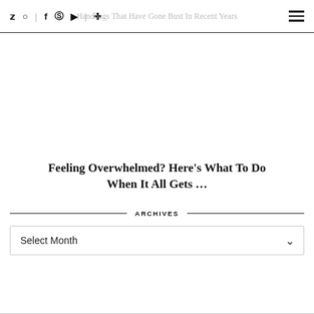Twitter | Instagram | Facebook | Pinterest | YouTube | Plus | Handbags That Have Gone Bust In Recent Years
[Figure (photo): Blank white image placeholder area]
Feeling Overwhelmed? Here’s What To Do When It All Gets …
ARCHIVES
Select Month